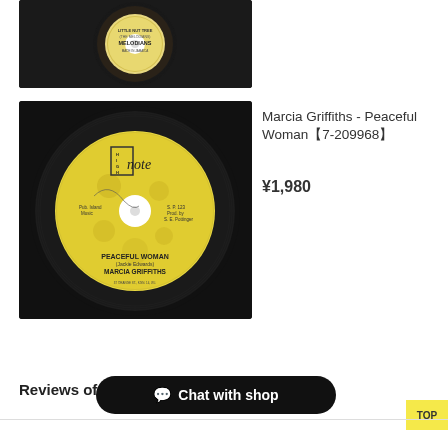[Figure (photo): Close-up photo of a vinyl record label showing 'LITTLE NUT TREE - THE MELODIANS - MELODIANS - MADE IN JAMAICA']
[Figure (photo): Photo of a vinyl record with High Note label showing 'PEACEFUL WOMAN - (Jackie Edwards) - MARCIA GRIFFITHS - Pub. Island Music - S.P. 123 Prod. by S.E. Pottinger']
Marcia Griffiths - Peaceful Woman【7-209968】
¥1,980
Reviews of t
Chat with shop